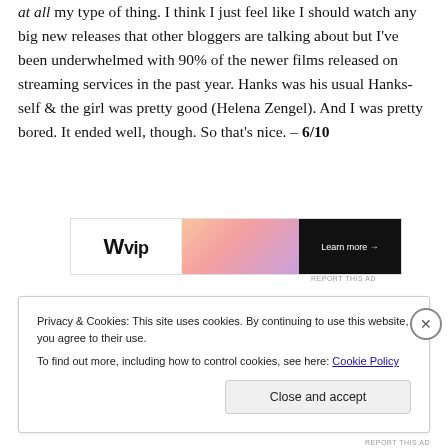at all my type of thing. I think I just feel like I should watch any big new releases that other bloggers are talking about but I've been underwhelmed with 90% of the newer films released on streaming services in the past year. Hanks was his usual Hanks-self & the girl was pretty good (Helena Zengel). And I was pretty bored. It ended well, though. So that's nice. – 6/10
[Figure (other): WVip advertisement banner with gradient and Learn more button]
Privacy & Cookies: This site uses cookies. By continuing to use this website, you agree to their use.
To find out more, including how to control cookies, see here: Cookie Policy
Close and accept